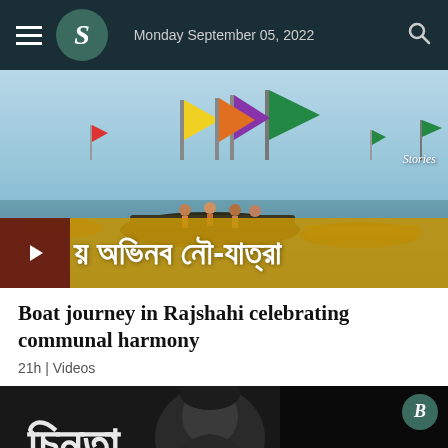Monday September 05, 2022
[Figure (photo): Boats on a river decorated with colorful flags (yellow, green, purple, orange) with people in them, celebrating communal harmony in Rajshahi. Shows a Stories label in the top right. Has a play button overlay and Bengali text overlay on yellow bar reading নৌ-যাত্রা.]
Boat journey in Rajshahi celebrating communal harmony
21h | Videos
[Figure (screenshot): A dark/black-and-white video thumbnail showing a man's face in profile against a dark background, with a B logo badge in the top right corner and Bengali text at the bottom.]